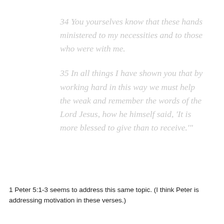34 You yourselves know that these hands ministered to my necessities and to those who were with me.
35 In all things I have shown you that by working hard in this way we must help the weak and remember the words of the Lord Jesus, how he himself said, 'It is more blessed to give than to receive.'
1 Peter 5:1-3 seems to address this same topic. (I think Peter is addressing motivation in these verses.)